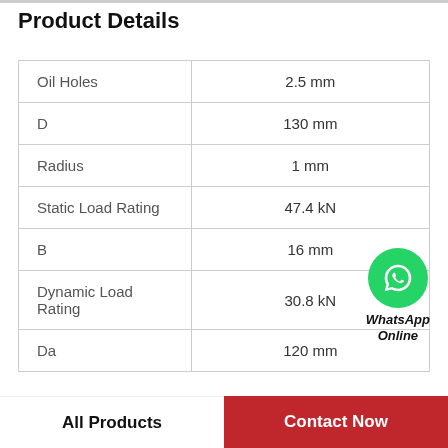Product Details
| Property | Value |
| --- | --- |
| Oil Holes | 2.5 mm |
| D | 130 mm |
| Radius | 1 mm |
| Static Load Rating | 47.4 kN |
| B | 16 mm |
| Dynamic Load Rating | 30.8 kN |
| Da | 120 mm |
[Figure (logo): WhatsApp Online contact bubble with green WhatsApp icon and text 'WhatsApp Online']
All Products
Contact Now